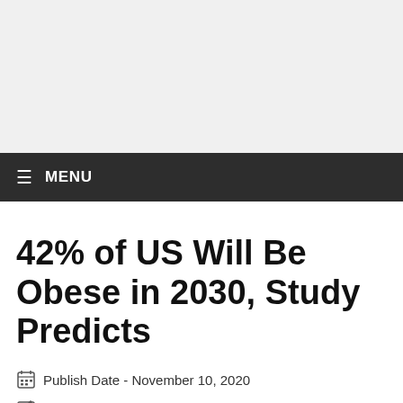[Figure (other): Advertisement banner placeholder at top of page]
≡ MENU
42% of US Will Be Obese in 2030, Study Predicts
📅 Publish Date - November 10, 2020
✏ Written By Mark Schweizer